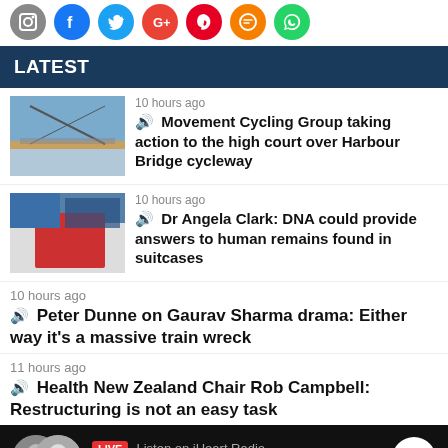[Figure (screenshot): Social media share icons: camera, Facebook, Twitter, Google+, Pinterest, messaging, WhatsApp]
LATEST
[Figure (photo): Harbour Bridge waterway photo thumbnail]
10 hours ago
🔊 Movement Cycling Group taking action to the high court over Harbour Bridge cycleway
[Figure (photo): Red vehicle at event scene thumbnail]
10 hours ago
🔊 Dr Angela Clark: DNA could provide answers to human remains found in suitcases
10 hours ago
🔊 Peter Dunne on Gaurav Sharma drama: Either way it's a massive train wreck
11 hours ago
🔊 Health New Zealand Chair Rob Campbell: Restructuring is not an easy task
[Figure (screenshot): Live player bar: LIVE badge, Listen on iHeart Radio, Overnight Talk, play button, two host avatars]
Home | Shows | Podcasts | News | Menu